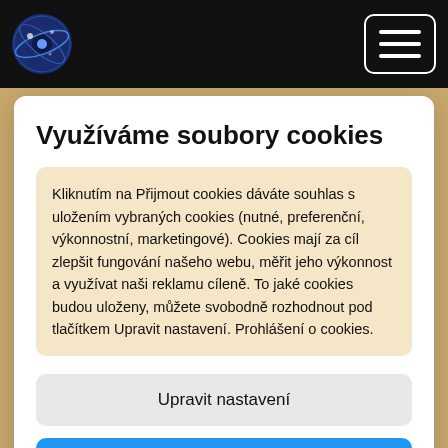Navigation bar with logo and hamburger menu
NLE PERKS
★ ... ★  Although an entirely high level digital
Využíváme soubory cookies
Kliknutím na Přijmout cookies dáváte souhlas s uložením vybraných cookies (nutné, preferenční, výkonnostní, marketingové). Cookies mají za cíl zlepšit fungování našeho webu, měřit jeho výkonnost a využívat naši reklamu cíleně. To jaké cookies budou uloženy, můžete svobodně rozhodnout pod tlačítkem Upravit nastavení. Prohlášení o cookies.
Upravit nastavení
Přijmout cookies
Duration:   20:27